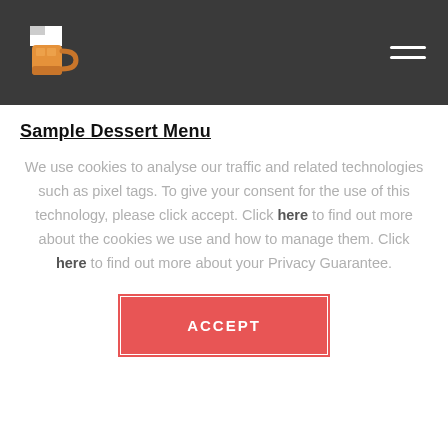Sample Dessert Menu — website header with logo and hamburger menu
Sample Dessert Menu
We use cookies to analyse our traffic and related technologies such as pixel tags. To give your consent for the use of this technology, please click accept. Click here to find out more about the cookies we use and how to manage them. Click here to find out more about your Privacy Guarantee.
ACCEPT